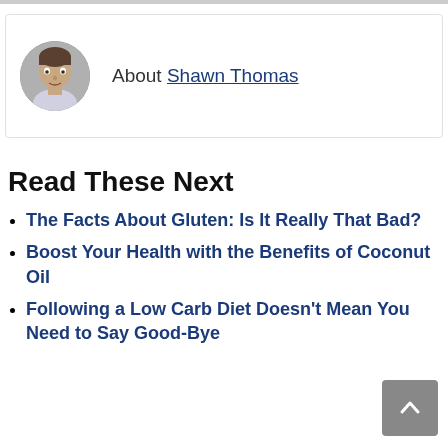[Figure (photo): Author profile photo of Shawn Thomas, circular cropped headshot of a young man]
About Shawn Thomas
Read These Next
The Facts About Gluten: Is It Really That Bad?
Boost Your Health with the Benefits of Coconut Oil
Following a Low Carb Diet Doesn't Mean You Need to Say Good-Bye